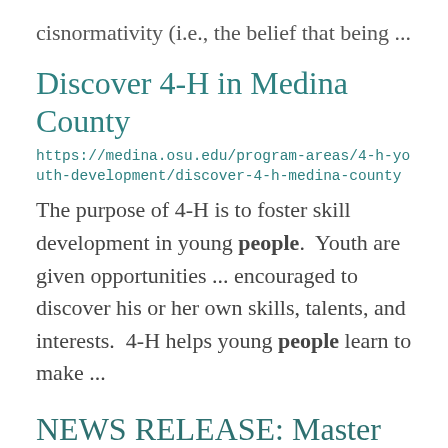cisnormativity (i.e., the belief that being ...
Discover 4-H in Medina County
https://medina.osu.edu/program-areas/4-h-youth-development/discover-4-h-medina-county
The purpose of 4-H is to foster skill development in young people.  Youth are given opportunities ... encouraged to discover his or her own skills, talents, and interests.  4-H helps young people learn to make ...
NEWS RELEASE: Master Gardener Training RETURNS 2022
https://medina.osu.edu/news/news-release...